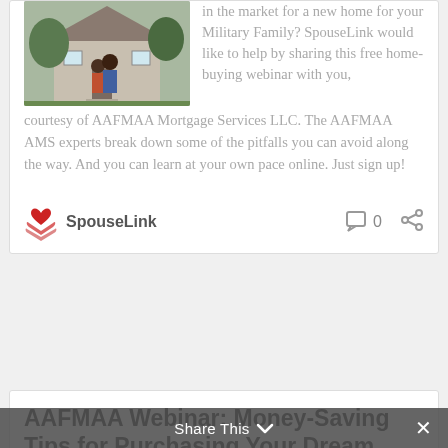[Figure (photo): A couple standing outside a house, viewed from behind, with the man's arm around the woman.]
in the market for a new home for your Military Family? SpouseLink would like to help by sharing this free home-buying webinar with you, courtesy of AAFMAA Mortgage Services LLC. The AAFMAA AMS experts break down some of the pitfalls you can avoid along the way. And you can learn at your own pace online. Just sign up!
SpouseLink
0
AAFMAA Webinar: Money-Saving Tips for Purchasing Your Dream Home
Share This